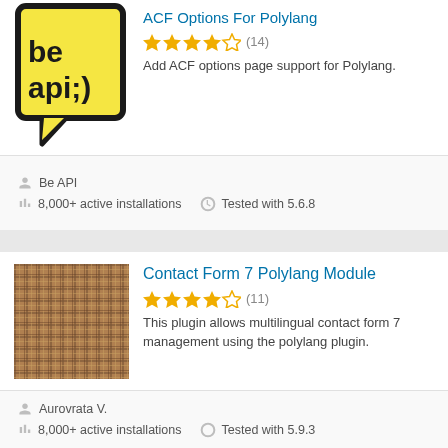[Figure (logo): Be API plugin logo — yellow speech bubble with 'be api;)' text in black on yellow background]
ACF Options For Polylang
★★★★☆ (14)
Add ACF options page support for Polylang.
Be API
8,000+ active installations   Tested with 5.6.8
[Figure (photo): Brown/tan plaid textile or fabric pattern image]
Contact Form 7 Polylang Module
★★★★☆ (11)
This plugin allows multilingual contact form 7 management using the polylang plugin.
Aurovrata V.
8,000+ active installations   Tested with 5.9.3